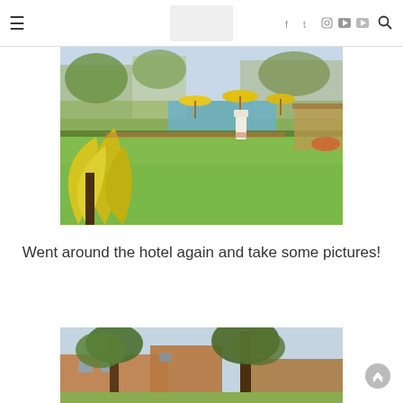≡  [logo]  f  t  ig  yt  yt  🔍
[Figure (photo): Outdoor hotel grounds with green lawn, yellow umbrellas near a pool, yellow palm fronds in foreground, pergola structure on right, lush tropical garden]
Went around the hotel again and take some pictures!
[Figure (photo): Hotel exterior with large trees in foreground, terracotta building visible behind trees, bright sunny day]